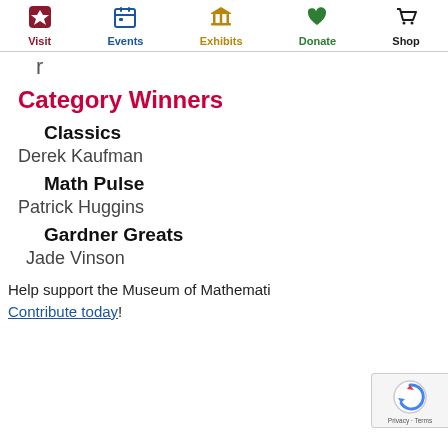Visit | Events | Exhibits | Donate | Shop
r
Category Winners
Classics
Derek Kaufman
Math Pulse
Patrick Huggins
Gardner Greats
Jade Vinson
Help support the Museum of Mathemat… Contribute today!